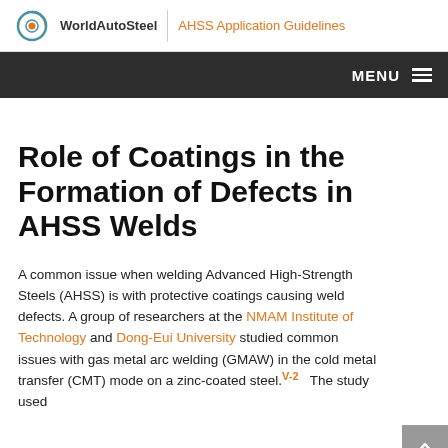WorldAutoSteel | AHSS Application Guidelines
Role of Coatings in the Formation of Defects in AHSS Welds
A common issue when welding Advanced High-Strength Steels (AHSS) is with protective coatings causing weld defects. A group of researchers at the NMAM Institute of Technology and Dong-Eui University studied common issues with gas metal arc welding (GMAW) in the cold metal transfer (CMT) mode on a zinc-coated steel.V-2 The study used